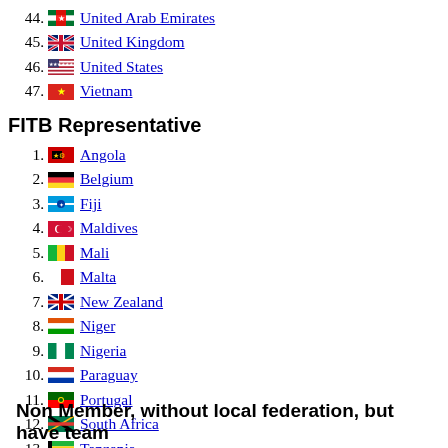44. United Arab Emirates
45. United Kingdom
46. United States
47. Vietnam
FITB Representative
1. Angola
2. Belgium
3. Fiji
4. Maldives
5. Mali
6. Malta
7. New Zealand
8. Niger
9. Nigeria
10. Paraguay
11. Portugal
12. South Africa
13. Tanzania
14. Uruguay
15. Venezuela
Non Member, without local federation, but have team